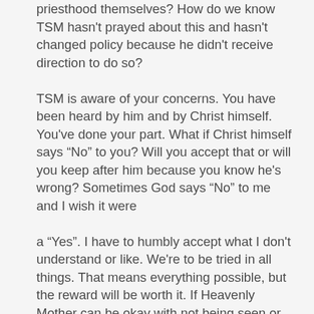priesthood themselves? How do we know TSM hasn't prayed about this and hasn't changed policy because he didn't receive direction to do so? TSM is aware of your concerns. You have been heard by him and by Christ himself. You've done your part. What if Christ himself says “No” to you? Will you accept that or will you keep after him because you know he's wrong? Sometimes God says “No” to me and I wish it were a “Yes”. I have to humbly accept what I don't understand or like. We're to be tried in all things. That means everything possible, but the reward will be worth it. If Heavenly Mother can be okay with not being seen or heard from ever, then that tells me the rest of us aren’t seeing the whole picture.